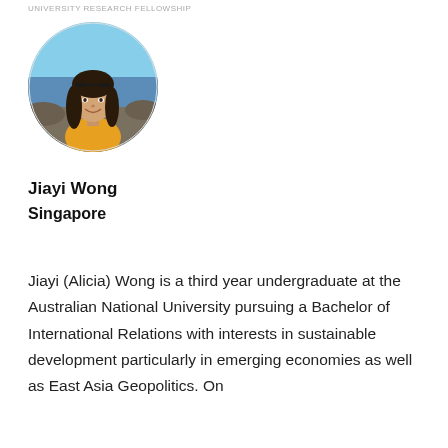UNIVERSITY RESEARCH FELLOWSHIP
[Figure (photo): Circular cropped headshot photo of a young woman with long dark hair, wearing a yellow top, smiling outdoors near a rocky coastal area with blue sky.]
Jiayi Wong
Singapore
Jiayi (Alicia) Wong is a third year undergraduate at the Australian National University pursuing a Bachelor of International Relations with interests in sustainable development particularly in emerging economies as well as East Asia Geopolitics. On